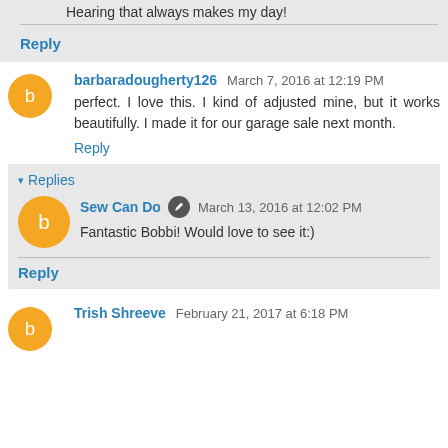Hearing that always makes my day!
Reply
barbaradougherty126  March 7, 2016 at 12:19 PM
perfect. I love this. I kind of adjusted mine, but it works beautifully. I made it for our garage sale next month.
Reply
Replies
Sew Can Do  March 13, 2016 at 12:02 PM
Fantastic Bobbi! Would love to see it:)
Reply
Trish Shreeve  February 21, 2017 at 6:18 PM